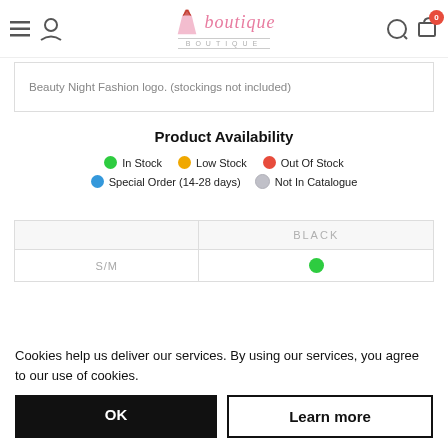Boutique store header with logo, navigation icons, and cart badge (0)
Beauty Night Fashion logo. (stockings not included)
Product Availability
● In Stock   ● Low Stock   ● Out Of Stock
● Special Order (14-28 days)   ● Not In Catalogue
|  | BLACK |
| --- | --- |
| S/M | ● |
Cookies help us deliver our services. By using our services, you agree to our use of cookies.
OK   Learn more